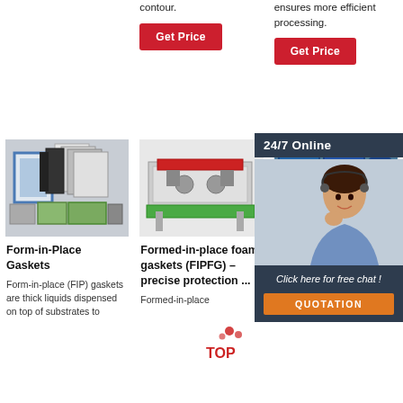contour.
ensures more efficient processing.
Get Price
Get Price
[Figure (photo): Collection of form-in-place gasket filter panels in various sizes and colors]
[Figure (photo): Industrial foam gasket forming machine with conveyor]
[Figure (photo): Blue industrial drums/containers]
[Figure (photo): Customer service representative with headset - 24/7 Online chat overlay]
24/7 Online
Click here for free chat !
QUOTATION
Form-in-Place Gaskets
Form-in-place (FIP) gaskets are thick liquids dispensed on top of substrates to
Formed-in-place foam gaskets (FIPFG) – precise protection ...
Formed-in-place
Dynamic Foam-In-Place Gasketing (TDS).
2019-3-29 · Foam-In-Place PUR Material Saint-